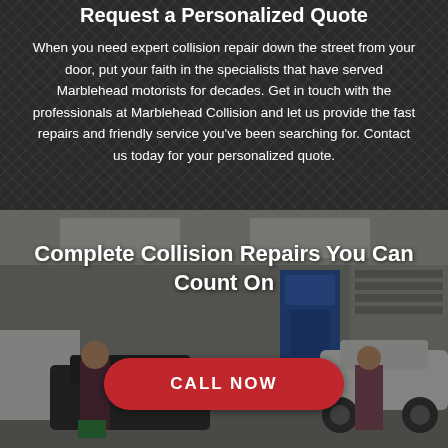Request a Personalized Quote
When you need expert collision repair down the street from your door, put your faith in the specialists that have served Marblehead motorists for decades. Get in touch with the professionals at Marblehead Collision and let us provide the fast repairs and friendly service you've been searching for. Contact us today for your personalized quote.
[Figure (photo): Interior of an auto body repair shop showing mechanics working on vehicles with equipment visible in the background]
Complete Collision Repairs You Can Count On
CALL NOW